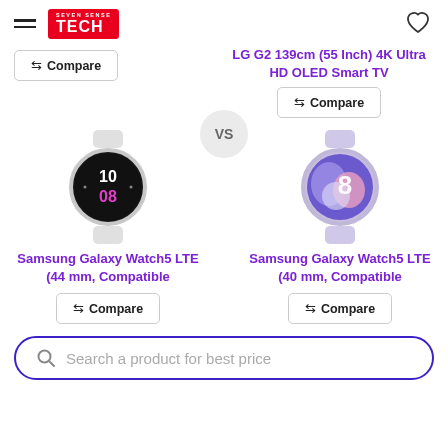Seven Sense Tech
LG G2 139cm (55 Inch) 4K Ultra HD OLED Smart TV
Compare
Compare
[Figure (photo): Samsung Galaxy Watch5 LTE 44mm smartwatch with black circular face showing 10:08 time display]
VS
[Figure (photo): Samsung Galaxy Watch5 LTE 40mm smartwatch with lavender/purple circular face with colorful design]
Samsung Galaxy Watch5 LTE (44 mm, Compatible
Samsung Galaxy Watch5 LTE (40 mm, Compatible
Compare
Compare
Search a product for best price